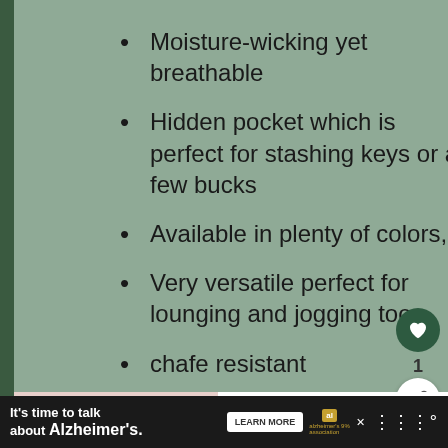Moisture-wicking yet breathable
Hidden pocket which is perfect for stashing keys or a few bucks
Available in plenty of colors,
Very versatile perfect for lounging and jogging too
chafe resistant
No gusset or reinforced deta[ils...]
Less durable as more expensive
It's time to talk about Alzheimer's.
LEARN MORE
WHAT'S NEXT → Hiking in yoga pants:...